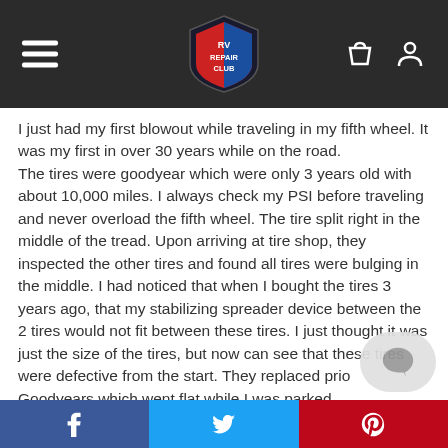RV Repair Club
I just had my first blowout while traveling in my fifth wheel. It was my first in over 30 years while on the road. The tires were goodyear which were only 3 years old with about 10,000 miles. I always check my PSI before traveling and never overload the fifth wheel. The tire split right in the middle of the tread. Upon arriving at tire shop, they inspected the other tires and found all tires were bulging in the middle. I had noticed that when I bought the tires 3 years ago, that my stabilizing spreader device between the 2 tires would not fit between these tires. I just thought it was just the size of the tires, but now can see that these tires were defective from the start. They replaced prior Goodyears which went flat while I was parked … …
Facebook | Twitter | Pinterest